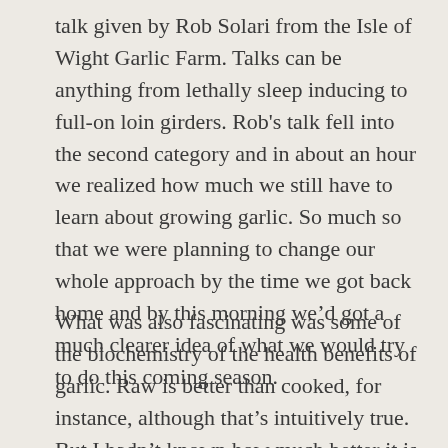talk given by Rob Solari from the Isle of Wight Garlic Farm. Talks can be anything from lethally sleep inducing to full-on loin girders. Rob's talk fell into the second category and in about an hour we realized how much we still have to learn about growing garlic. So much so that we were planning to change our whole approach by the time we got back home and by this morning we'd got a much clearer idea of what we would try to do this coming season.
What was also fascinating was some of the biochemistry of the health benefits of garlic. Raw is better than cooked, for instance, although that's intuitively true.  But I hadn't known how much better it is to crush rather